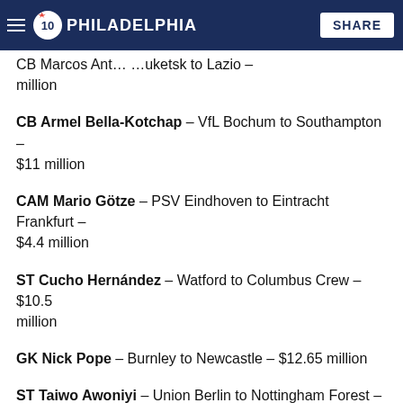NBC 10 PHILADELPHIA | SHARE
CB Marcos Antonio Jovic Kaiserslautetsk to Lazio – million
CB Armel Bella-Kotchap – VfL Bochum to Southampton – $11 million
CAM Mario Götze – PSV Eindhoven to Eintracht Frankfurt – $4.4 million
ST Cucho Hernández – Watford to Columbus Crew – $10.5 million
GK Nick Pope – Burnley to Newcastle – $12.65 million
ST Taiwo Awoniyi – Union Berlin to Nottingham Forest – $22.5 million